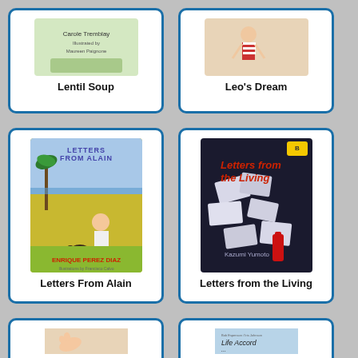[Figure (illustration): Book cover for 'Lentil Soup' - partial view at top]
Lentil Soup
[Figure (illustration): Book cover for 'Leo's Dream' - partial view at top]
Leo's Dream
[Figure (illustration): Book cover for 'Letters From Alain' by Enrique Perez Diaz, showing a boy standing in a field with palm trees]
Letters From Alain
[Figure (illustration): Book cover for 'Letters from the Living' by Kazumi Yumoto, dark cover with scattered papers]
Letters from the Living
[Figure (illustration): Partial book cover at bottom left]
[Figure (illustration): Partial book cover at bottom right - 'Life Accord...']